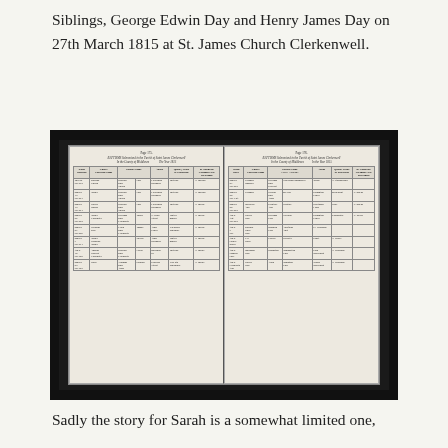Siblings, George Edwin Day and Henry James Day on 27th March 1815 at St. James Church Clerkenwell.
[Figure (photo): A black and white photograph of an open church baptism register book showing two pages (Page 175 and Page 175) of baptism records from the Parish of Saint James Clerkenwell in the County of Middlesex. The pages contain handwritten entries in cursive script recording baptisms including those of George Edwin Day and Henry James Day.]
Sadly the story for Sarah is a somewhat limited one,